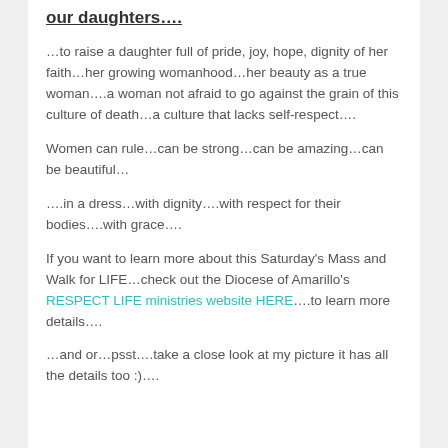our daughters….
…to raise a daughter full of pride, joy, hope, dignity of her faith…her growing womanhood…her beauty as a true woman….a woman not afraid to go against the grain of this culture of death…a culture that lacks self-respect….
Women can rule…can be strong…can be amazing…can be beautiful…
….in a dress…with dignity….with respect for their bodies….with grace….
If you want to learn more about this Saturday's Mass and Walk for LIFE…check out the Diocese of Amarillo's RESPECT LIFE ministries website HERE….to learn more details….
…and or…psst….take a close look at my picture it has all the details too :)….